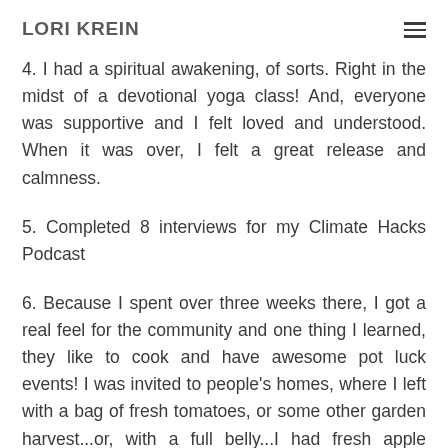LORI KREIN
4. I had a spiritual awakening, of sorts. Right in the midst of a devotional yoga class! And, everyone was supportive and I felt loved and understood. When it was over, I felt a great release and calmness.
5. Completed 8 interviews for my Climate Hacks Podcast
6. Because I spent over three weeks there, I got a real feel for the community and one thing I learned, they like to cook and have awesome pot luck events! I was invited to people's homes, where I left with a bag of fresh tomatoes, or some other garden harvest...or, with a full belly...I had fresh apple cobbler, freshly baked bread, enjoyed goat's milk soap, a pizza party and musical gathering, and tons